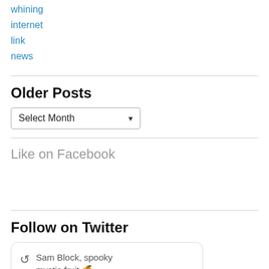whining
internet
link
news
Older Posts
Select Month
Like on Facebook
Follow on Twitter
Sam Block, spooky mystic fruit 🍊 ...
BOOTY SR